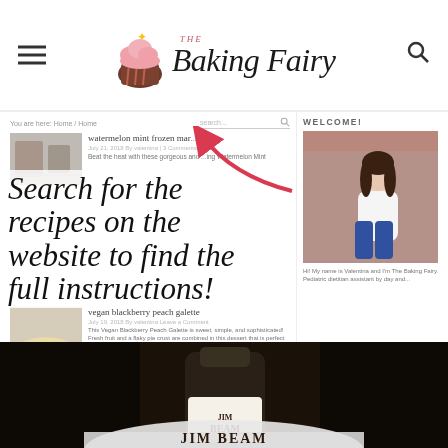[Figure (screenshot): The Baking Fairy website header with cupcake logo, hamburger menu icon, and search icon]
You are here: Home / Home
watermelon mint frozen mar...
Beat the heat with these gorgeous and...ing Watermelon Mint
Search for the recipes on the website to find the full instructions!
WELCOME!
Hi! My name is Valentina and I'm The Baking Fairy. Pediatric dietitian assistant by day and...
vegan blackberry peach galette
This Vegan Blackberry Peach Galette is sweet, simple, and sophisticated! Fresh fruit and a flaky pie crust are combined in this dessert that is perfect for summer... Hello my beautiful friends!
[Figure (photo): Jim Beam whiskey bottle on white cloth/napkin against dark background]